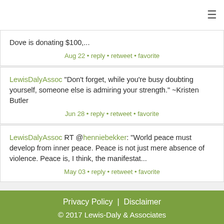≡
Dove is donating $100,...
Aug 22 • reply • retweet • favorite
LewisDalyAssoc "Don't forget, while you're busy doubting yourself, someone else is admiring your strength." ~Kristen Butler
Jun 28 • reply • retweet • favorite
LewisDalyAssoc RT @henniebekker: "World peace must develop from inner peace. Peace is not just mere absence of violence. Peace is, I think, the manifestat...
May 03 • reply • retweet • favorite
Privacy Policy | Disclaimer
© 2017 Lewis-Daly & Associates